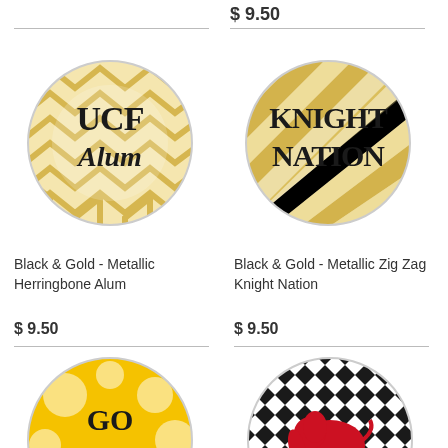$ 9.50
[Figure (photo): Round button pin with black and gold metallic herringbone pattern, text reads UCF Alum]
[Figure (photo): Round button pin with black and gold metallic zig zag pattern, text reads KNIGHT NATION]
Black & Gold - Metallic Herringbone Alum
$ 9.50
Black & Gold - Metallic Zig Zag Knight Nation
$ 9.50
[Figure (photo): Round button pin with yellow and white floral pattern, text reads GO MIZZOU]
[Figure (photo): Round button pin with black and white houndstooth pattern, red elephant graphic]